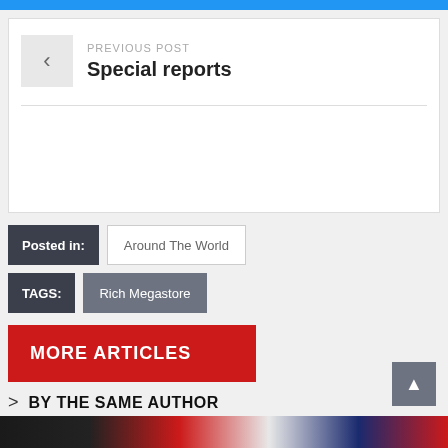PREVIOUS POST
Special reports
Posted in: Around The World
TAGS: Rich Megastore
MORE ARTICLES
> BY THE SAME AUTHOR
[Figure (photo): Bottom image bar with colorful banner/photo strip]